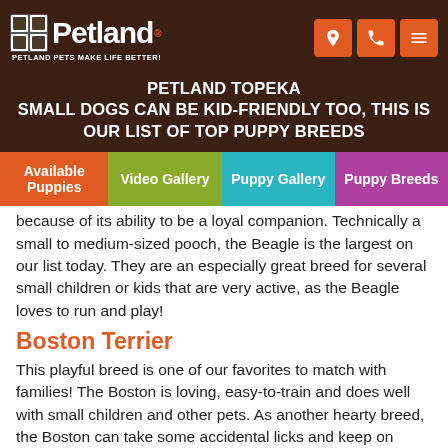Petland — PETLAND PETS MAKE LIFE BETTER!
PETLAND TOPEKA
SMALL DOGS CAN BE KID-FRIENDLY TOO, THIS IS OUR LIST OF TOP PUPPY BREEDS
Available Puppies | Video Gallery | Puppy Gallery | Puppy Breeds
because of its ability to be a loyal companion. Technically a small to medium-sized pooch, the Beagle is the largest on our list today. They are an especially great breed for several small children or kids that are very active, as the Beagle loves to run and play!
Boston Terrier
This playful breed is one of our favorites to match with families! The Boston is loving, easy-to-train and does well with small children and other pets. As another hearty breed, the Boston can take some accidental licks and keep on ticking! They also tend to be quieter than some other